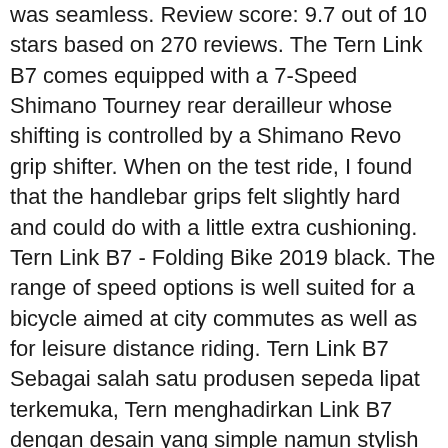was seamless. Review score: 9.7 out of 10 stars based on 270 reviews. The Tern Link B7 comes equipped with a 7-Speed Shimano Tourney rear derailleur whose shifting is controlled by a Shimano Revo grip shifter. When on the test ride, I found that the handlebar grips felt slightly hard and could do with a little extra cushioning. Tern Link B7 - Folding Bike 2019 black. The range of speed options is well suited for a bicycle aimed at city commutes as well as for leisure distance riding. Tern Link B7 Sebagai salah satu produsen sepeda lipat terkemuka, Tern menghadirkan Link B7 dengan desain yang simple namun stylish bagi Anda yang ingin berkeliling kota. The ride experience is fulfilling, for this price range..! With 7-speed gearing, eyelets for rear racks, and a height-adjustable telescopic handlepost, it packs a ton of versatility. Unboxing Video. One brand that has gained popularity for durable and strong bicycles is Tern. TERN; ACCESSORIES; TECHNICAL; EXTRA SERVICES . Yes, when you are riding an old bike since many years now, then a new bike is certainly going to make a